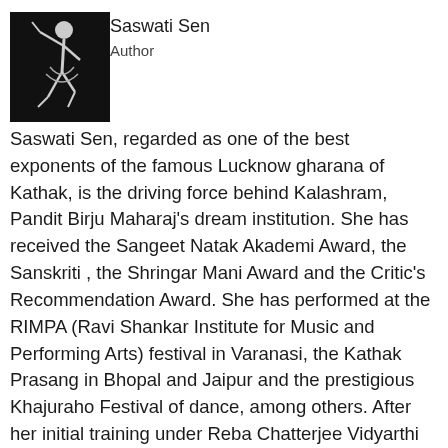[Figure (photo): Black and white photograph of Saswati Sen, a Kathak dancer, in a dance pose]
Saswati Sen
Author
Saswati Sen, regarded as one of the best exponents of the famous Lucknow gharana of Kathak, is the driving force behind Kalashram, Pandit Birju Maharaj's dream institution. She has received the Sangeet Natak Akademi Award, the Sanskriti , the Shringar Mani Award and the Critic's Recommendation Award. She has performed at the RIMPA (Ravi Shankar Institute for Music and Performing Arts) festival in Varanasi, the Kathak Prasang in Bhopal and Jaipur and the prestigious Khajuraho Festival of dance, among others. After her initial training under Reba Chatterjee Vidyarthi at the Bharatiya Kala Kendra in New Delhi, she was awarded the National Scholarship in 1969 by the Ministry of Culture. She then graduated to become one of the